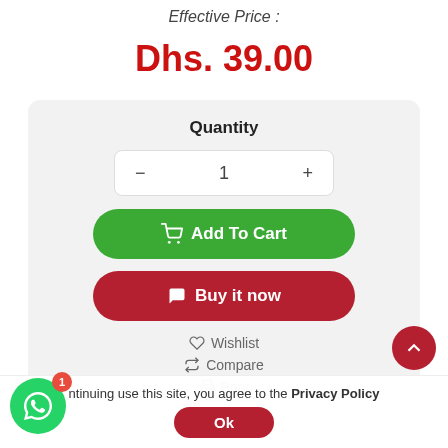Effective Price :
Dhs. 39.00
Quantity
- 1 +
Add To Cart
Buy it now
Wishlist
Compare
Print
continuing use this site, you agree to the Privacy Policy
Ok